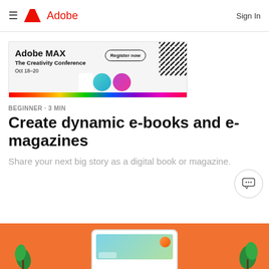≡  Adobe  Sign In
[Figure (illustration): Adobe MAX - The Creativity Conference banner ad. Oct 18-20. Register now button. Rainbow stripe at bottom, diagonal stripes top-right, two colored circles.]
BEGINNER · 3 MIN
Create dynamic e-books and e-magazines
Share your next big story as a digital book or magazine.
[Figure (illustration): Orange background with partial view of a tablet/iPad showing colorful content, green plants visible at edges.]